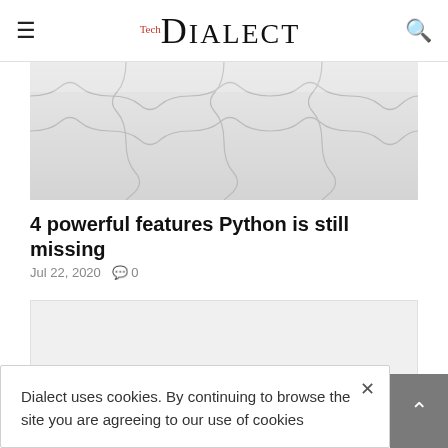TechDialect
[Figure (photo): Puzzle pieces arranged together, light grey color, close-up top view]
4 powerful features Python is still missing
Jul 22, 2020    0
[Figure (other): Grey advertisement or content placeholder block]
Dialect uses cookies. By continuing to browse the site you are agreeing to our use of cookies